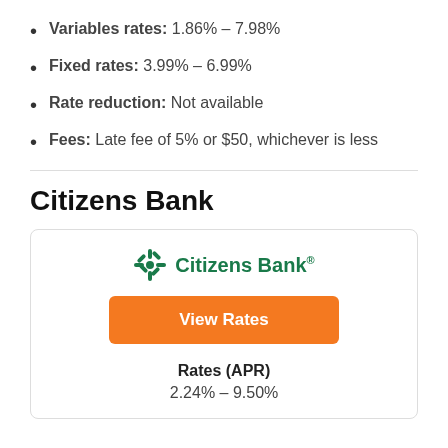Variables rates: 1.86% – 7.98%
Fixed rates: 3.99% – 6.99%
Rate reduction: Not available
Fees: Late fee of 5% or $50, whichever is less
Citizens Bank
[Figure (logo): Citizens Bank logo with green snowflake icon and 'Citizens Bank®' text in green, followed by an orange 'View Rates' button]
Rates (APR)
2.24% – 9.50%